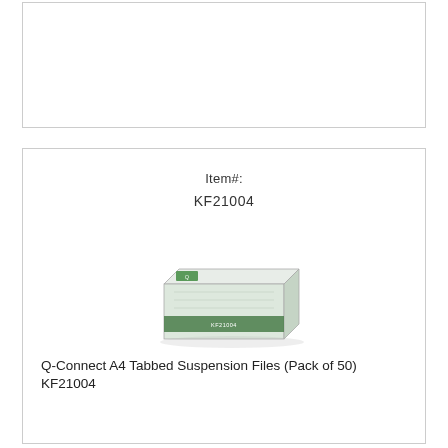[Figure (other): Empty white card/box area at top of page]
Item#:
KF21004
[Figure (photo): Product image of Q-Connect A4 Tabbed Suspension Files box (Pack of 50), showing a flat rectangular box with green and white Q-Connect branding]
Q-Connect A4 Tabbed Suspension Files (Pack of 50) KF21004